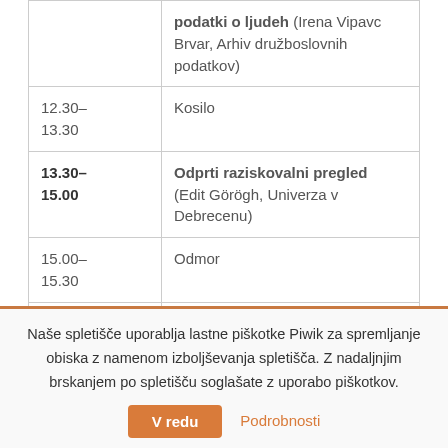| Čas | Dogodek |
| --- | --- |
|  | podatki o ljudeh (Irena Vipavc Brvar, Arhiv družboslovnih podatkov) |
| 12.30–13.30 | Kosilo |
| 13.30–15.00 | Odprti raziskovalni pregled (Edit Görögh, Univerza v Debrecenu) |
| 15.00–15.30 | Odmor |
|  | Objavljanje v odprtem |
Naše spletišče uporablja lastne piškotke Piwik za spremljanje obiska z namenom izboljševanja spletišča. Z nadaljnjim brskanjem po spletišču soglašate z uporabo piškotkov.